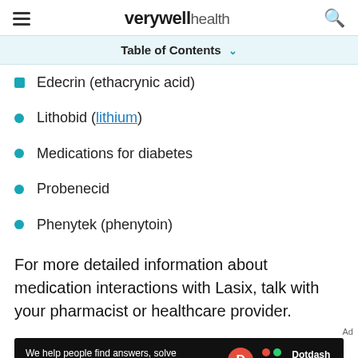verywell health
Table of Contents
Edecrin (ethacrynic acid)
Lithobid (lithium)
Medications for diabetes
Probenecid
Phenytek (phenytoin)
For more detailed information about medication interactions with Lasix, talk with your pharmacist or healthcare provider.
[Figure (other): Dotdash Meredith advertisement banner: 'We help people find answers, solve problems and get inspired.']